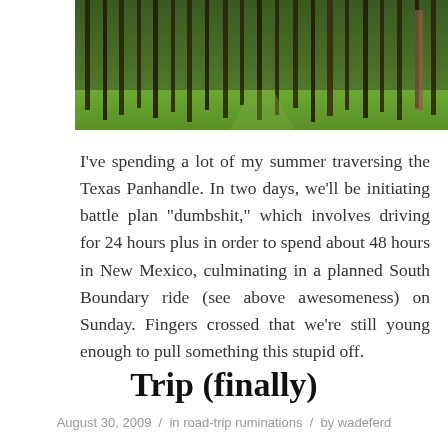[Figure (photo): Forest scene with tall slender tree trunks and green undergrowth/grass on the forest floor]
I've spending a lot of my summer traversing the Texas Panhandle. In two days, we'll be initiating battle plan "dumbshit," which involves driving for 24 hours plus in order to spend about 48 hours in New Mexico, culminating in a planned South Boundary ride (see above awesomeness) on Sunday. Fingers crossed that we're still young enough to pull something this stupid off.
Trip (finally)
August 30, 2009  /  in road-trip ruminations  /  by wadeferd